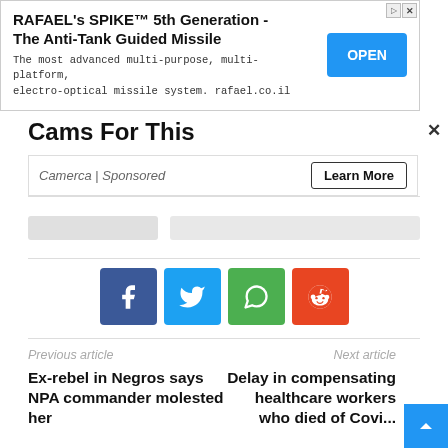[Figure (screenshot): Advertisement banner: RAFAEL's SPIKE 5th Generation - The Anti-Tank Guided Missile, with OPEN button and ad icons]
Cams For This
Camerca | Sponsored
[Figure (screenshot): Loading placeholder rectangles (grey bars)]
[Figure (infographic): Social share buttons: Facebook, Twitter, WhatsApp, Reddit]
Previous article
Ex-rebel in Negros says NPA commander molested her
Next article
Delay in compensating healthcare workers who died of Covid...